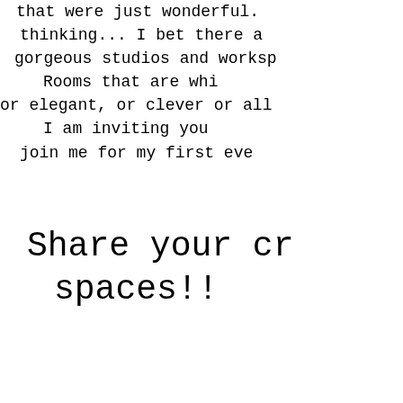that were just wonderful. thinking... I bet there a gorgeous studios and worksp Rooms that are whi or elegant, or clever or all I am inviting you join me for my first eve
Share your cr spaces!!